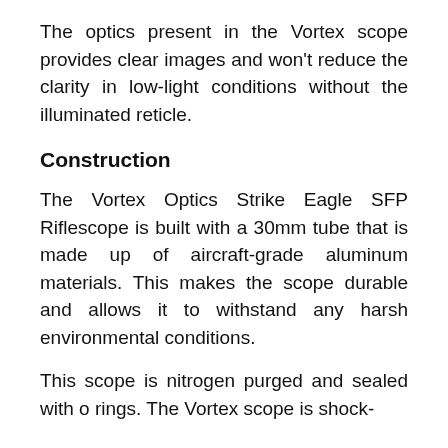The optics present in the Vortex scope provides clear images and won't reduce the clarity in low-light conditions without the illuminated reticle.
Construction
The Vortex Optics Strike Eagle SFP Riflescope is built with a 30mm tube that is made up of aircraft-grade aluminum materials. This makes the scope durable and allows it to withstand any harsh environmental conditions.
This scope is nitrogen purged and sealed with o rings. The Vortex scope is shock-